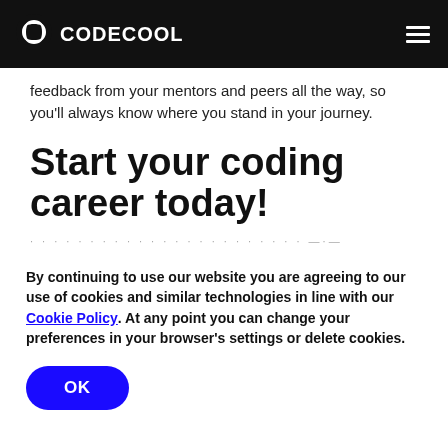CODECOOL
feedback from your mentors and peers all the way, so you'll always know where you stand in your journey.
Start your coding career today!
By continuing to use our website you are agreeing to our use of cookies and similar technologies in line with our Cookie Policy. At any point you can change your preferences in your browser's settings or delete cookies.